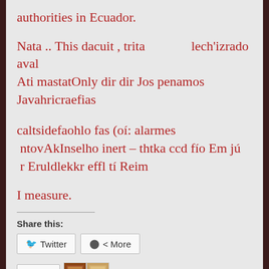authorities in Ecuador.
Nata .. This dacuit , trita         lech'izrado aval Ati mastatOnly dir dir Jos penamos Javahricraefias
caltsidefaohlo fas (oí: alarmes  ntovAkInselho inert – thtka ccd fío Em jú  r Eruldlekkr effl tí Reim
I measure.
Share this:
Twitter  More
Like
2 bloggers like this.